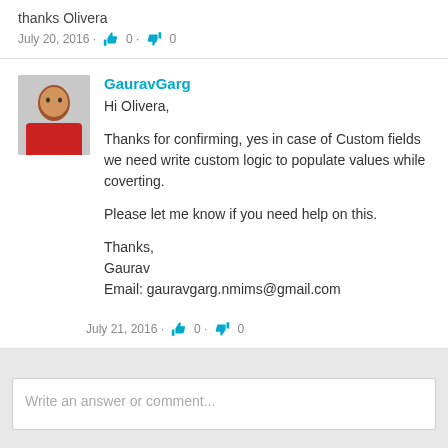thanks Olivera
July 20, 2016 · 👍 0 · 👎 0
GauravGarg
Hi Olivera,

Thanks for confirming, yes in case of Custom fields we need write custom logic to populate values while coverting.

Please let me know if you need help on this.

Thanks,
Gaurav
Email: gauravgarg.nmims@gmail.com
July 21, 2016 · 👍 0 · 👎 0
Write an answer or comment...